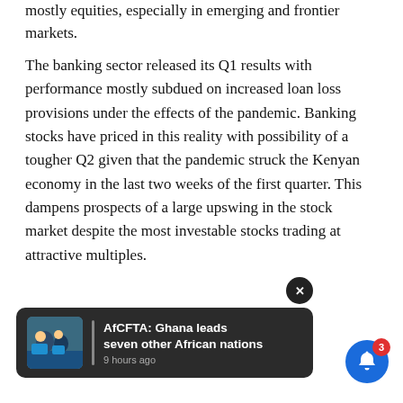mostly equities, especially in emerging and frontier markets.
The banking sector released its Q1 results with performance mostly subdued on increased loan loss provisions under the effects of the pandemic. Banking stocks have priced in this reality with possibility of a tougher Q2 given that the pandemic struck the Kenyan economy in the last two weeks of the first quarter. This dampens prospects of a large upswing in the stock market despite the most investable stocks trading at attractive multiples.
Also Read: Equity Group raises its loan ... 3 billion
[Figure (screenshot): Notification popup with image of African workers in blue uniforms, title 'AfCFTA: Ghana leads seven other African nations', timestamp '9 hours ago'. Overlaid close button (X) and blue bell icon with red badge showing 3.]